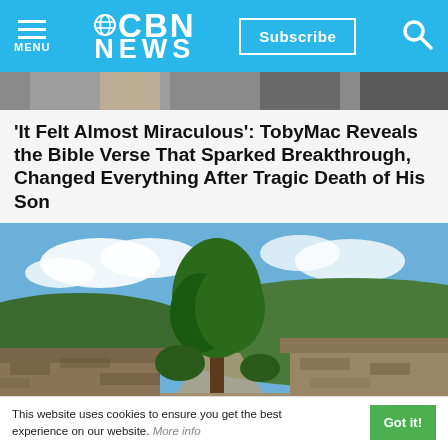CBN NEWS
[Figure (photo): Partial photograph of a person shown from shoulders, cropped at top of page]
'It Felt Almost Miraculous': TobyMac Reveals the Bible Verse That Sparked Breakthrough, Changed Everything After Tragic Death of His Son
[Figure (photo): Photograph of a landscape showing a rocky path between stone walls, a tall tree, blue sky with white clouds, and rolling green hills in the background]
This website uses cookies to ensure you get the best experience on our website. More info
Got it!